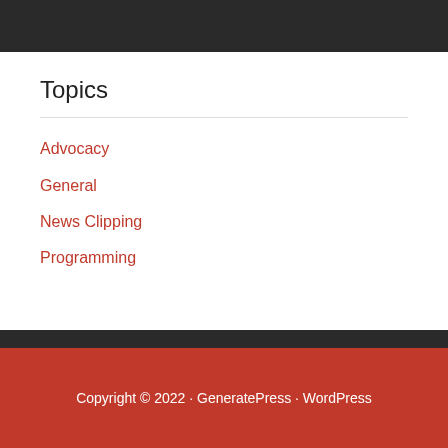Topics
Advocacy
General
News Clipping
Programming
Copyright © 2022 · GeneratePress · WordPress